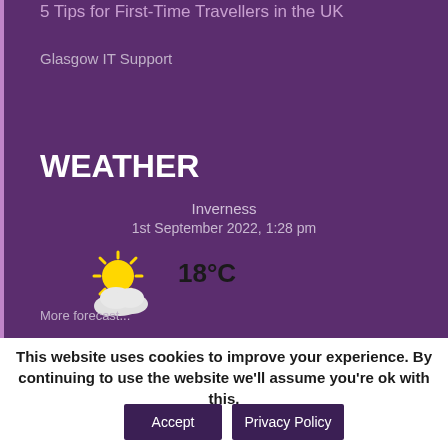5 Tips for First-Time Travellers in the UK
Glasgow IT Support
WEATHER
Inverness
1st September 2022, 1:28 pm
[Figure (illustration): Partly sunny weather icon with sun and clouds]
18°C
More forecast...
This website uses cookies to improve your experience. By continuing to use the website we'll assume you're ok with this.
Accept
Privacy Policy